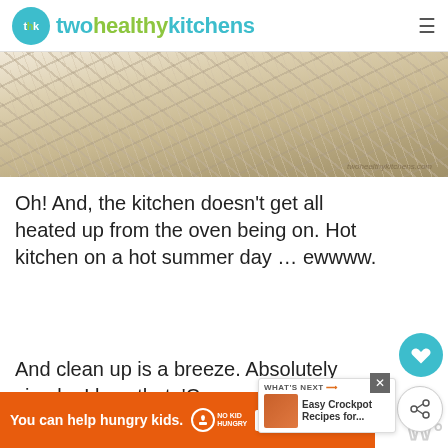twohealthykitchens
[Figure (photo): Shredded chicken in a white bowl, viewed from above, with watermark text in lower right corner]
Oh! And, the kitchen doesn't get all heated up from the oven being on. Hot kitchen on a hot summer day … ewwww.
And clean up is a breeze. Absolutely simple. I love that. 'Cause we certainly don't slow down after dinner!
[Figure (other): What's Next widget showing Easy Crockpot Recipes thumbnail]
[Figure (other): Advertisement banner: You can help hungry kids. No Kid Hungry. Learn How.]